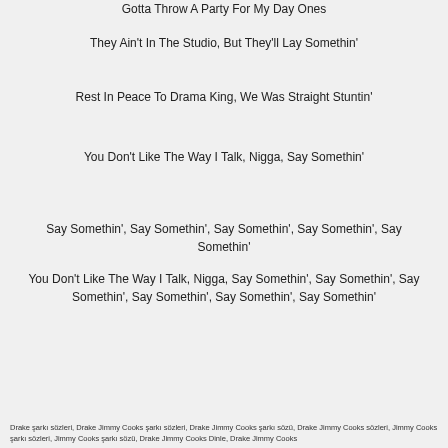Gotta Throw A Party For My Day Ones
They Ain't In The Studio, But They'll Lay Somethin'
Rest In Peace To Drama King, We Was Straight Stuntin'
You Don't Like The Way I Talk, Nigga, Say Somethin'
Say Somethin', Say Somethin', Say Somethin', Say Somethin', Say Somethin'
You Don't Like The Way I Talk, Nigga, Say Somethin', Say Somethin', Say Somethin', Say Somethin', Say Somethin', Say Somethin'
Drake şarkı sözleri, Drake Jimmy Cooks şarkı sözleri, Drake Jimmy Cooks şarkı sözü, Drake Jimmy Cooks sözleri, Jimmy Cooks şarkı sözleri, Jimmy Cooks şarkı sözü, Drake Jimmy Cooks Dinle, Drake Jimmy Cooks